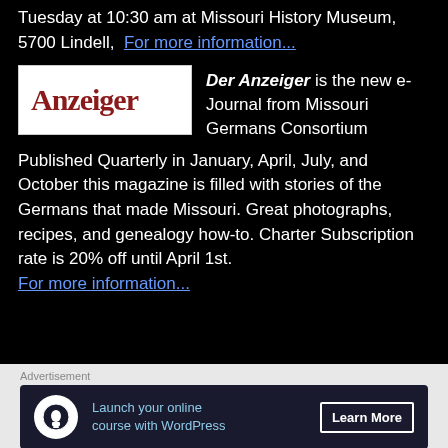Tuesday at 10:30 am at Missouri History Museum, 5700 Lindell,  For more information...
[Figure (logo): Anzeiger logo — red serif text on white background]
Der Anzeiger is the new e-Journal from Missouri Germans Consortium
Published Quarterly in January, April, July, and October this magazine is filled with stories of the Germans that made Missouri. Great photographs, recipes, and genealogy how-to. Charter Subscription rate is 20% off until April 1st. For more information...
[Figure (infographic): Advertisement banner: Launch your online course with WordPress — Learn More button]